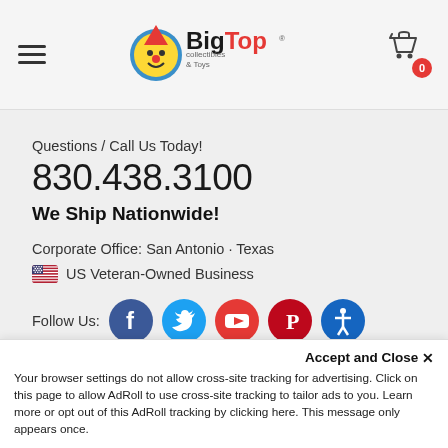BigTop Collectibles & Toys — navigation header with hamburger menu, logo, and cart (0 items)
Questions / Call Us Today!
830.438.3100
We Ship Nationwide!
Corporate Office: San Antonio · Texas
🇺🇸 US Veteran-Owned Business
Follow Us: Facebook, Twitter, YouTube, Pinterest, Accessibility
Accept and Close ✕
Your browser settings do not allow cross-site tracking for advertising. Click on this page to allow AdRoll to use cross-site tracking to tailor ads to you. Learn more or opt out of this AdRoll tracking by clicking here. This message only appears once.